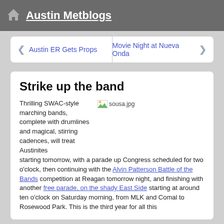Austin Metblogs
< Austin ER Gets Props    Movie Night at Nueva Onda >
Strike up the band
[Figure (photo): sousa.jpg image placeholder shown inline with text]
Thrilling SWAC-style marching bands, complete with drumlines and magical, stirring cadences, will treat Austinites starting tomorrow, with a parade up Congress scheduled for two o'clock, then continuing with the Alvin Patterson Battle of the Bands competition at Reagan tomorrow night, and finishing with another free parade, on the shady East Side starting at around ten o'clock on Saturday morning, from MLK and Comal to Rosewood Park. This is the third year for all this...